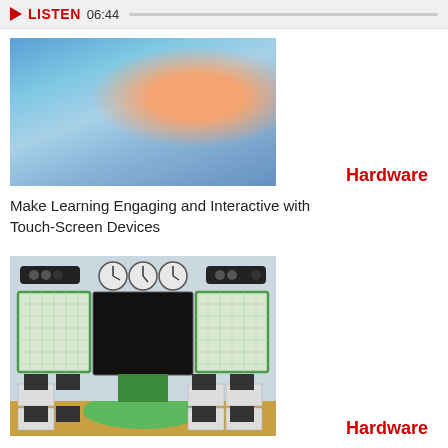LISTEN 06:44
[Figure (photo): Close-up photo of a finger touching a blue touch-screen device]
Hardware
Make Learning Engaging and Interactive with Touch-Screen Devices
[Figure (photo): Illustration of a modern classroom with a large interactive whiteboard, clocks, whiteboards, and student desks with computers]
Hardware